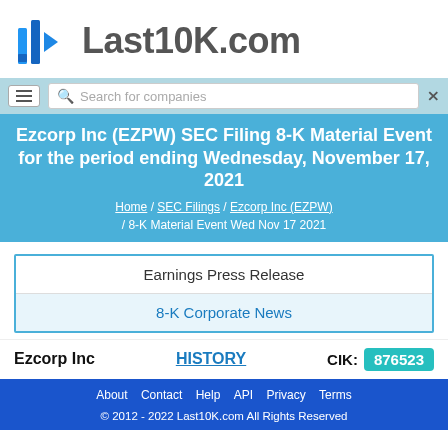[Figure (logo): Last10K.com logo with blue geometric arrow/bar chart icon and gray text 'Last10K.com']
Search for companies
Ezcorp Inc (EZPW) SEC Filing 8-K Material Event for the period ending Wednesday, November 17, 2021
Home / SEC Filings / Ezcorp Inc (EZPW) / 8-K Material Event Wed Nov 17 2021
| Earnings Press Release |
| 8-K Corporate News |
Ezcorp Inc      HISTORY      CIK: 876523
About  Contact  Help  API  Privacy  Terms
© 2012 - 2022 Last10K.com All Rights Reserved